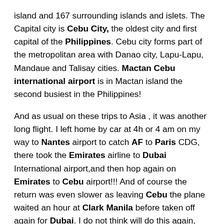island and 167 surrounding islands and islets. The Capital city is Cebu City, the oldest city and first capital of the Philippines. Cebu city forms part of the metropolitan area with Danao city, Lapu-Lapu, Mandaue and Talisay cities. Mactan Cebu international airport is in Mactan island the second busiest in the Philippines!
And as usual on these trips to Asia , it was another long flight. I left home by car at 4h or 4 am on my way to Nantes airport to catch AF to Paris CDG, there took the Emirates airline to Dubai International airport,and then hop again on Emirates to Cebu airport!!! And of course the return was even slower as leaving Cebu the plane waited an hour at Clark Manila before taken off again for Dubai. I do not think will do this again, this route and airlines  Emirates read they were good but boy did they...